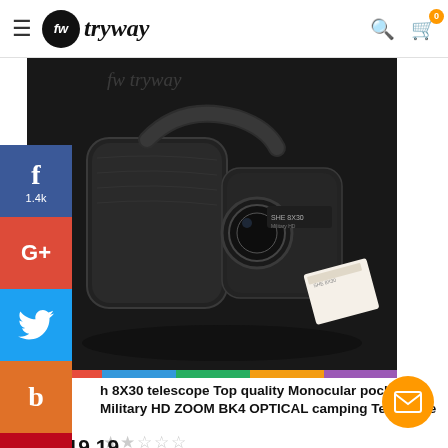tryway — navigation header with logo, search and cart icons
[Figure (photo): Product photo of 8X30 binoculars with leather carry case on dark reflective background, with tryway watermark. Social media share buttons on left: Facebook (1.4k), Google+, Twitter, Blogger, Pinterest, Tumblr.]
h 8X30 telescope Top quality Monocular pocket Military HD ZOOM BK4 OPTICAL camping Telescope
★★☆☆☆
$19.19